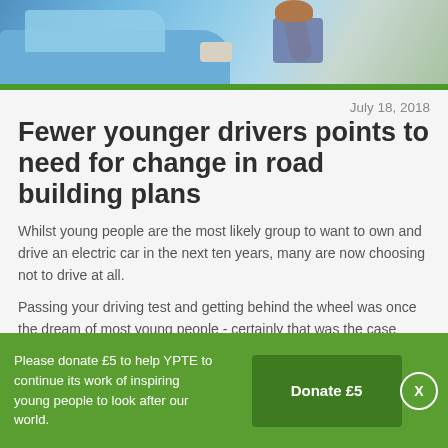[Figure (photo): Photo of a young person leaning out of a blue car window, with arm visible outside the car. Green bar at bottom of image.]
Fewer younger drivers points to need for change in road building plans
July 18, 2018
Whilst young people are the most likely group to want to own and drive an electric car in the next ten years, many are now choosing not to drive at all.
Passing your driving test and getting behind the wheel was once the dream of most young people - certainly that was the case when I got my licence in the late 1980s.  But today's young people are choosing not to drive in much greater
Please donate £5 to help YPTE to continue its work of inspiring young people to look after our world.
Donate £5